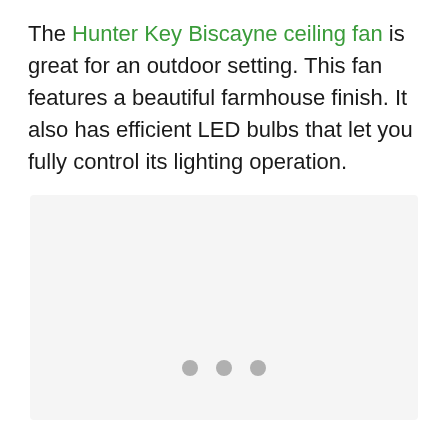The Hunter Key Biscayne ceiling fan is great for an outdoor setting. This fan features a beautiful farmhouse finish. It also has efficient LED bulbs that let you fully control its lighting operation.
[Figure (other): A light gray image placeholder box with three small gray dots at the bottom center, indicating an image carousel or loading state.]